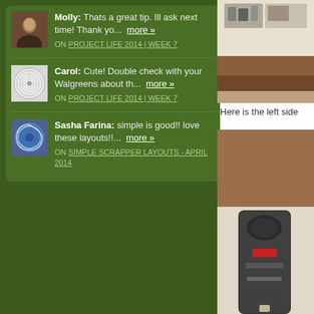Molly: Thats a great tip. Ill ask next time! Thank yo... more » ON PROJECT LIFE 2014 | WEEK 7
Carol: Cute! Double check with your Walgreens about th... more » ON PROJECT LIFE 2014 | WEEK 7
Sasha Farina: simple is good!! love these layouts!!... more » ON SIMPLE SCRAPPER LAYOUTS - APRIL 2014
[Figure (photo): Top right photo showing shelves with items and wooden floor]
Here is the left side
[Figure (photo): Bottom right photo showing wooden surface and dark cylindrical object with red band]